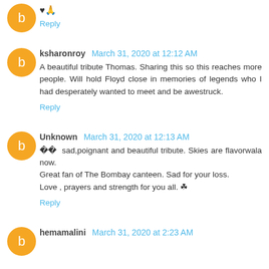♥️🙏
Reply
ksharonroy March 31, 2020 at 12:12 AM
A beautiful tribute Thomas. Sharing this so this reaches more people. Will hold Floyd close in memories of legends who I had desperately wanted to meet and be awestruck.
Reply
Unknown March 31, 2020 at 12:13 AM
🔶🔶 sad,poignant and beautiful tribute. Skies are flavorwala now.
Great fan of The Bombay canteen. Sad for your loss.
Love , prayers and strength for you all. ✿
Reply
hemamalini March 31, 2020 at 2:23 AM